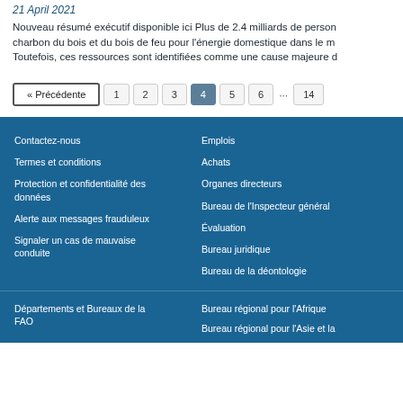21 April 2021
Nouveau résumé exécutif disponible ici Plus de 2.4 milliards de personnes dépendent du charbon du bois et du bois de feu pour l'énergie domestique dans le monde. Toutefois, ces ressources sont identifiées comme une cause majeure d
« Précédente
1
2
3
4
5
6
...
14
Contactez-nous
Termes et conditions
Protection et confidentialité des données
Alerte aux messages frauduleux
Signaler un cas de mauvaise conduite
Emplois
Achats
Organes directeurs
Bureau de l'Inspecteur général
Évaluation
Bureau juridique
Bureau de la déontologie
Départements et Bureaux de la FAO
Bureau régional pour l'Afrique
Bureau régional pour l'Asie et la